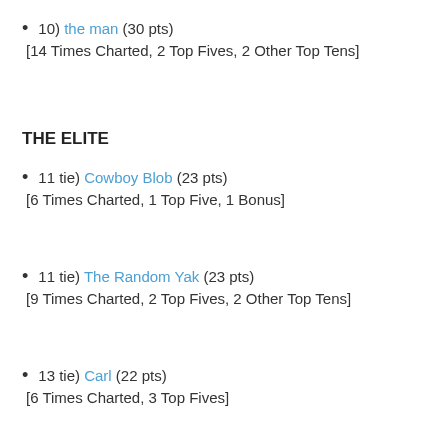10) the man (30 pts) [14 Times Charted, 2 Top Fives, 2 Other Top Tens]
THE ELITE
11 tie) Cowboy Blob (23 pts) [6 Times Charted, 1 Top Five, 1 Bonus]
11 tie) The Random Yak (23 pts) [9 Times Charted, 2 Top Fives, 2 Other Top Tens]
13 tie) Carl (22 pts) [6 Times Charted, 3 Top Fives]